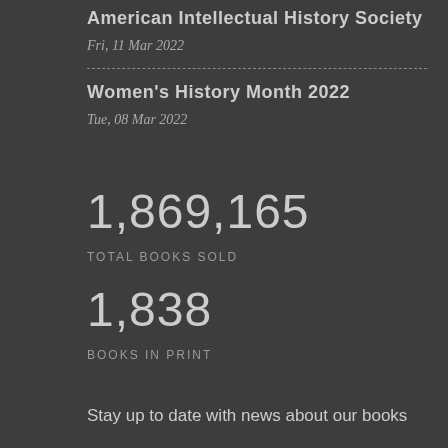American Intellectual History Society
Fri, 11 Mar 2022
Women's History Month 2022
Tue, 08 Mar 2022
1,869,165
TOTAL BOOKS SOLD
1,838
BOOKS IN PRINT
Stay up to date with news about our books